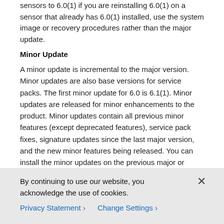sensors to 6.0(1) if you are reinstalling 6.0(1) on a sensor that already has 6.0(1) installed, use the system image or recovery procedures rather than the major update.
Minor Update
A minor update is incremental to the major version. Minor updates are also base versions for service packs. The first minor update for 6.0 is 6.1(1). Minor updates are released for minor enhancements to the product. Minor updates contain all previous minor features (except deprecated features), service pack fixes, signature updates since the last major version, and the new minor features being released. You can install the minor updates on the previous major or minor version (and often even on earlier versions). The minimum supported version needed to upgrade to the newest minor version is listed in the Readme that accompanies the minor update. With each minor update
By continuing to use our website, you acknowledge the use of cookies.
Privacy Statement › Change Settings ›